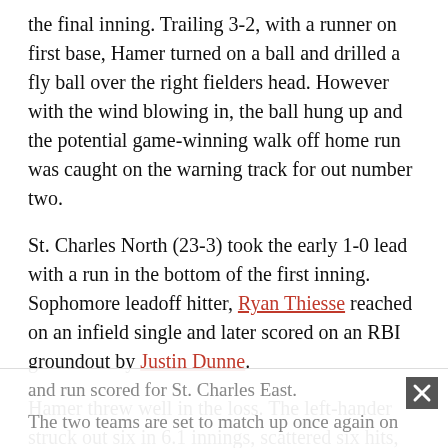the final inning. Trailing 3-2, with a runner on first base, Hamer turned on a ball and drilled a fly ball over the right fielders head. However with the wind blowing in, the ball hung up and the potential game-winning walk off home run was caught on the warning track for out number two.
St. Charles North (23-3) took the early 1-0 lead with a run in the bottom of the first inning. Sophomore leadoff hitter, Ryan Thiesse reached on an infield single and later scored on an RBI groundout by Justin Dunne.
Hamer threw well in the loss. The left-hander struck out six in 6.1 innings, scattered six hits, three runs, one earned and only walked one.
Junior Thomas Schroeder went 1-for-3 with a double and run scored for St. Charles East.
The two teams are set to match up once again on